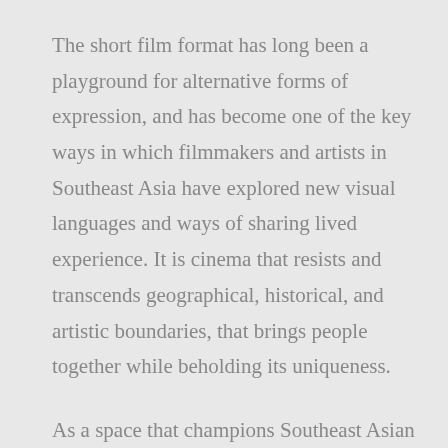The short film format has long been a playground for alternative forms of expression, and has become one of the key ways in which filmmakers and artists in Southeast Asia have explored new visual languages and ways of sharing lived experience. It is cinema that resists and transcends geographical, historical, and artistic boundaries, that brings people together while beholding its uniqueness.
As a space that champions Southeast Asian stories, programming, promoting and nurturing the development of short films is integral to